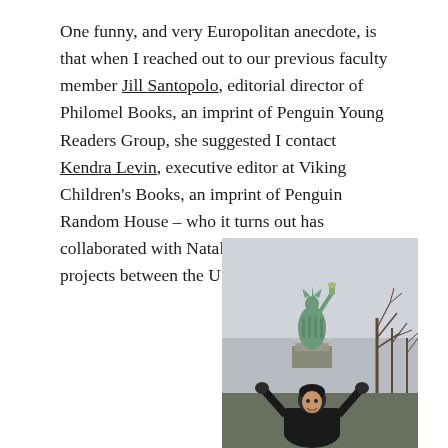One funny, and very Europolitan anecdote, is that when I reached out to our previous faculty member Jill Santopolo, editorial director of Philomel Books, an imprint of Penguin Young Readers Group, she suggested I contact Kendra Levin, executive editor at Viking Children's Books, an imprint of Penguin Random House – who it turns out has collaborated with Natalie Doherty on various projects between the U.K. and the U.S.
[Figure (photo): A person standing outdoors with arms raised, appearing to hold the Statue of Liberty above their head in a perspective trick photo. The statue stands in the background against an overcast grey sky with bare winter trees visible on the right side.]